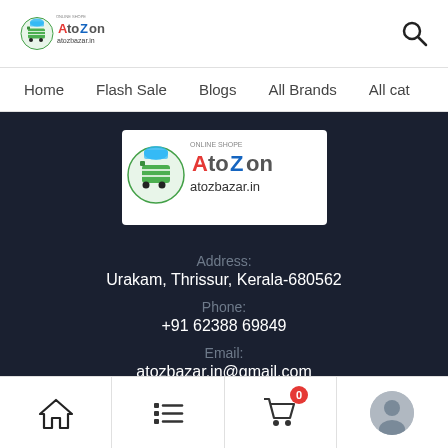[Figure (logo): AtoZon atozbazar.in logo in header]
Home   Flash Sale   Blogs   All Brands   All cat
[Figure (logo): AtoZon atozbazar.in logo banner in dark footer section]
Address:
Urakam, Thrissur, Kerala-680562
Phone:
+91 62388 69849
Email:
atozbazar.in@gmail.com
ATOZON ONLINE SHOPE
Home  List  Cart (0)  Profile